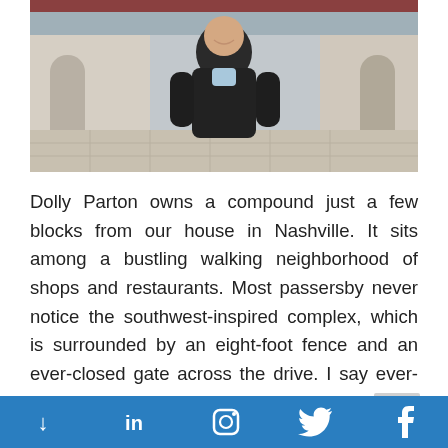[Figure (photo): Man in black zip-up jacket smiling outdoors in front of a southwest-style building with covered walkway and tiled courtyard]
Dolly Parton owns a compound just a few blocks from our house in Nashville. It sits among a bustling walking neighborhood of shops and restaurants. Most passersby never notice the southwest-inspired complex, which is surrounded by an eight-foot fence and an ever-closed gate across the drive. I say ever-closed to describe the gate, but that's…
Read More
Social media icons: scroll down, LinkedIn, Instagram, Twitter, Facebook